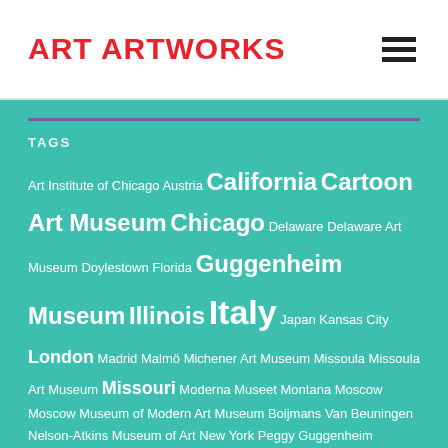ART ARTWORKS
TAGS
Art Institute of Chicago Austria California Cartoon Art Museum Chicago Delaware Delaware Art Museum Doylestown Florida Guggenheim Museum Illinois Italy Japan Kansas City London Madrid Malmö Michener Art Museum Missoula Missoula Art Museum Missouri Moderna Museet Montana Moscow Moscow Museum of Modern Art Museum Boijmans Van Beuningen Nelson-Atkins Museum of Art New York Peggy Guggenheim Collection Pennsylvania Rome Rotterdam Russia San Francisco Spain Stockholm Sweden Swiss Texas The Netherlands UK USA Venice Wilmington Winterthur